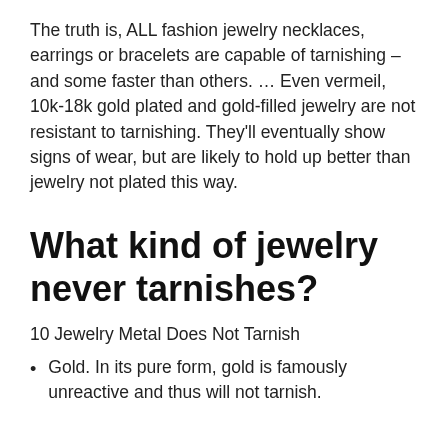The truth is, ALL fashion jewelry necklaces, earrings or bracelets are capable of tarnishing – and some faster than others. … Even vermeil, 10k-18k gold plated and gold-filled jewelry are not resistant to tarnishing. They'll eventually show signs of wear, but are likely to hold up better than jewelry not plated this way.
What kind of jewelry never tarnishes?
10 Jewelry Metal Does Not Tarnish
Gold. In its pure form, gold is famously unreactive and thus will not tarnish.